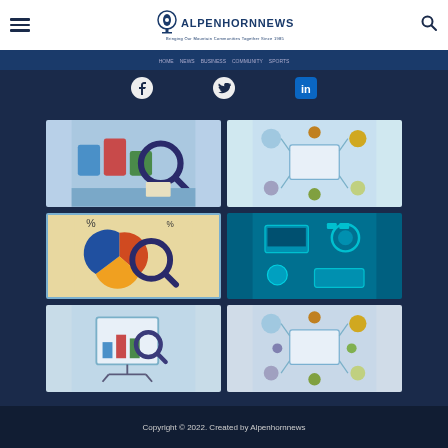ALPENHORNNEWS - Bringing Our Mountain Communities Together Since 1985
[Figure (illustration): Grid of 6 thumbnail illustrations showing digital marketing and analytics concepts]
Copyright © 2022. Created by Alpenhornnews